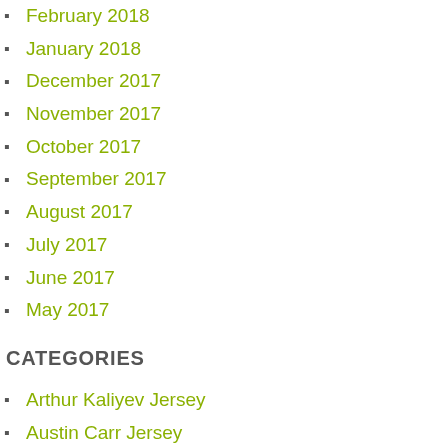February 2018
January 2018
December 2017
November 2017
October 2017
September 2017
August 2017
July 2017
June 2017
May 2017
CATEGORIES
Arthur Kaliyev Jersey
Austin Carr Jersey
Brandon Guyer Jersey
Cal Clutterbuck Jersey
cheap jerseys
cheap jerseys china
cheap nfl jerseys
Cheap NHL Jerseys